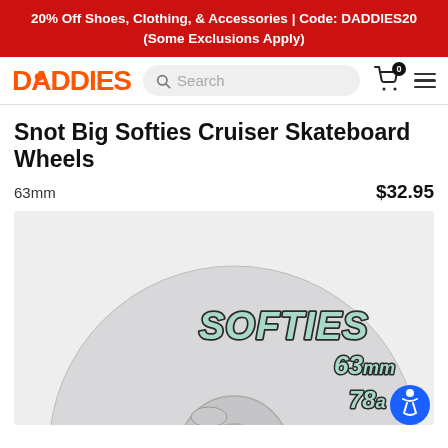20% Off Shoes, Clothing, & Accessories | Code: DADDIES20
(Some Exclusions Apply)
DADDIES [Search bar] [Cart 0] [Menu]
Snot Big Softies Cruiser Skateboard Wheels
63mm	$32.95
[Figure (photo): Close-up photo of a white/light grey skateboard wheel with mint green bubble lettering reading 'SOFTIES 63mm 78A' on the face of the wheel.]